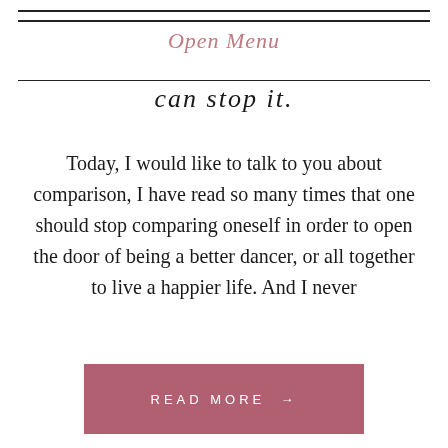Open Menu
can stop it.
Today, I would like to talk to you about comparison, I have read so many times that one should stop comparing oneself in order to open the door of being a better dancer, or all together to live a happier life. And I never
READ MORE →